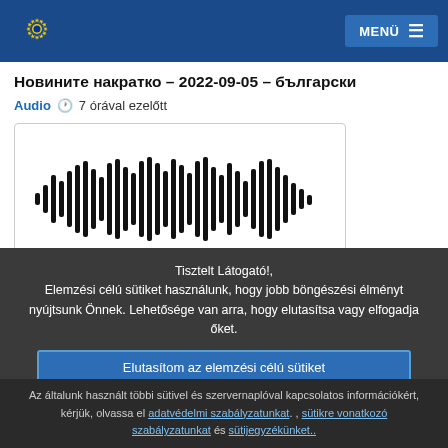MENÜ
Новините накратко – 2022-09-05 – български
Audio  7 órával ezelőtt
[Figure (other): Audio waveform player widget with sound wave visualization on white background]
Tisztelt Látogató!, Elemzési célú sütiket használunk, hogy jobb böngészési élményt nyújtsunk Önnek. Lehetősége van arra, hogy elutasítsa vagy elfogadja őket.
Elutasítom az elemzési célú sütiket
Elfogadom az elemzési célú sütiket
Az általunk használt többi sütivel és szervernaplóval kapcsolatos információkért, kérjük, olvassa el adatvédelmi szabályzatunkat. , sütikre vonatkozó szabályzatunkat és sütijegyzékünket..